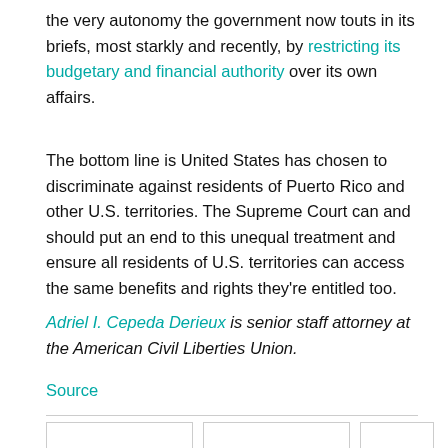the very autonomy the government now touts in its briefs, most starkly and recently, by restricting its budgetary and financial authority over its own affairs.
The bottom line is United States has chosen to discriminate against residents of Puerto Rico and other U.S. territories. The Supreme Court can and should put an end to this unequal treatment and ensure all residents of U.S. territories can access the same benefits and rights they're entitled too.
Adriel I. Cepeda Derieux is senior staff attorney at the American Civil Liberties Union.
Source